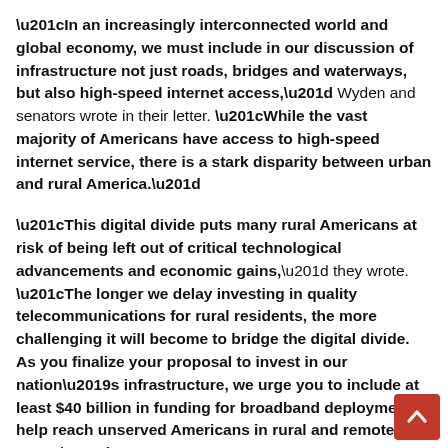“In an increasingly interconnected world and global economy, we must include in our discussion of infrastructure not just roads, bridges and waterways, but also high-speed internet access,” Wyden and senators wrote in their letter. “While the vast majority of Americans have access to high-speed internet service, there is a stark disparity between urban and rural America.”
“This digital divide puts many rural Americans at risk of being left out of critical technological advancements and economic gains,” they wrote. “The longer we delay investing in quality telecommunications for rural residents, the more challenging it will become to bridge the digital divide. As you finalize your proposal to invest in our nation’s infrastructure, we urge you to include at least $40 billion in funding for broadband deployment to help reach unserved Americans in rural and remote areas.”